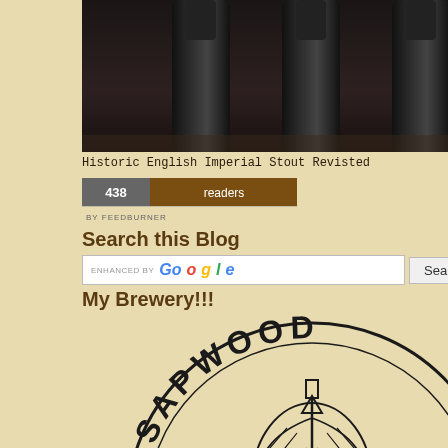[Figure (photo): Dark beer bottles on a wooden surface, top portion of photo showing bottle necks]
Historic English Imperial Stout Revisted
[Figure (logo): FeedBurner badge showing 438 readers]
Search this Blog
[Figure (screenshot): Google search box with ENHANCED BY Google label and Search button]
My Brewery!!!
[Figure (logo): Sapwood Cellars circular brewery logo with hop cone design]
Columbia, MD
examples of the style (La F... couple of weeks once its ca...
[Figure (photo): Glass carboy filled with dark liquid (fermenting beer) leaning against a white wall on a dolly]